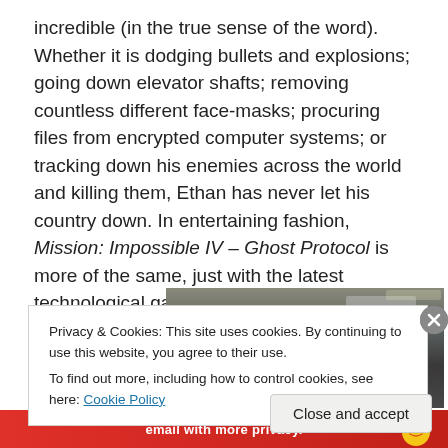incredible (in the true sense of the word). Whether it is dodging bullets and explosions; going down elevator shafts; removing countless different face-masks; procuring files from encrypted computer systems; or tracking down his enemies across the world and killing them, Ethan has never let his country down. In entertaining fashion, Mission: Impossible IV – Ghost Protocol is more of the same, just with the latest technological gadgets.
[Figure (photo): A man (partially visible) in a dimly lit interior setting, appears to be crouching or hiding, with some machinery or cables visible in the background.]
Privacy & Cookies: This site uses cookies. By continuing to use this website, you agree to their use.
To find out more, including how to control cookies, see here: Cookie Policy
Close and accept
email with more privacy.